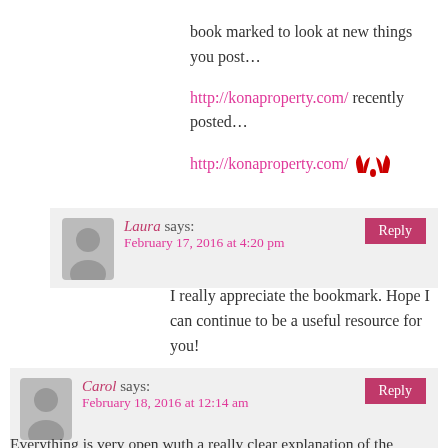book marked to look at new things you post… http://konaproperty.com/ recently posted… http://konaproperty.com/
Laura says: February 17, 2016 at 4:20 pm
I really appreciate the bookmark. Hope I can continue to be a useful resource for you! Laura recently posted…Easy Coupon Hacks for the Busy Mom
Carol says: February 18, 2016 at 12:14 am
Everything is very open wuth a really clear explanation of the challenges. It was really…